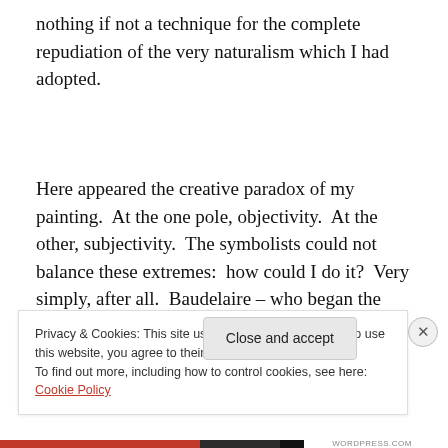nothing if not a technique for the complete repudiation of the very naturalism which I had adopted.
Here appeared the creative paradox of my painting.  At the one pole, objectivity.  At the other, subjectivity.  The symbolists could not balance these extremes:  how could I do it?  Very simply, after all.  Baudelaire – who began the modern revolt against objectivity – was himself the author
Privacy & Cookies: This site uses cookies. By continuing to use this website, you agree to their use.
To find out more, including how to control cookies, see here: Cookie Policy